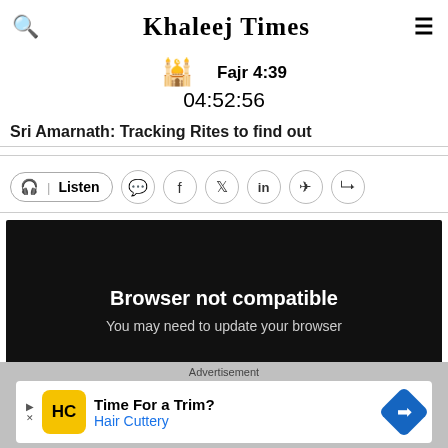Khaleej Times
Fajr 4:39
04:52:56
Sri Amarnath: Tracking Rites to find out
[Figure (screenshot): Action bar with Listen button and social sharing icons: headphone icon, Listen text, WhatsApp, Facebook, Twitter, LinkedIn, Telegram, Share]
[Figure (screenshot): Black video player area showing 'Browser not compatible' and 'You may need to update your browser']
Browser not compatible
You may need to update your browser
Advertisement
[Figure (screenshot): Advertisement banner: Time For a Trim? Hair Cuttery with HC logo and navigation arrow]